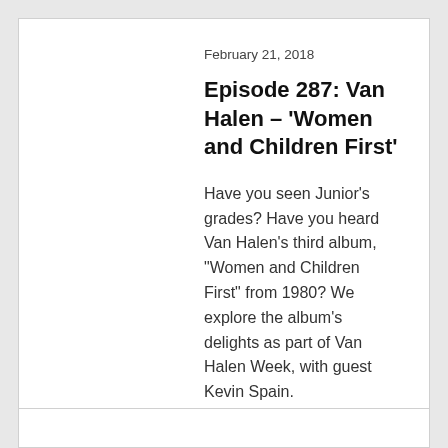February 21, 2018
Episode 287: Van Halen – ‘Women and Children First’
Have you seen Junior’s grades? Have you heard Van Halen’s third album, “Women and Children First” from 1980? We explore the album’s delights as part of Van Halen Week, with guest Kevin Spain.